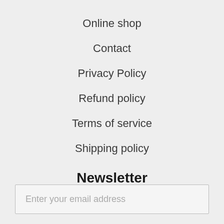Online shop
Contact
Privacy Policy
Refund policy
Terms of service
Shipping policy
Newsletter
Sign up now! Leave your email address.
Enter your email address